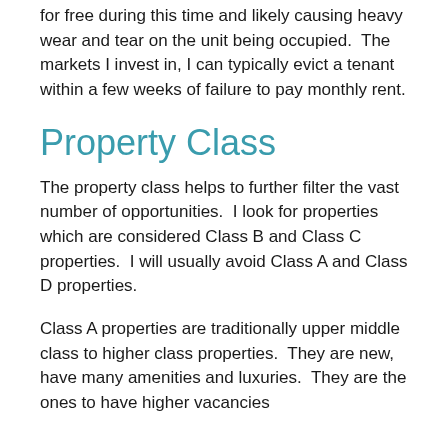for free during this time and likely causing heavy wear and tear on the unit being occupied.  The markets I invest in, I can typically evict a tenant within a few weeks of failure to pay monthly rent.
Property Class
The property class helps to further filter the vast number of opportunities.  I look for properties which are considered Class B and Class C properties.  I will usually avoid Class A and Class D properties.
Class A properties are traditionally upper middle class to higher class properties.  They are new, have many amenities and luxuries.  They are the ones to have higher vacancies